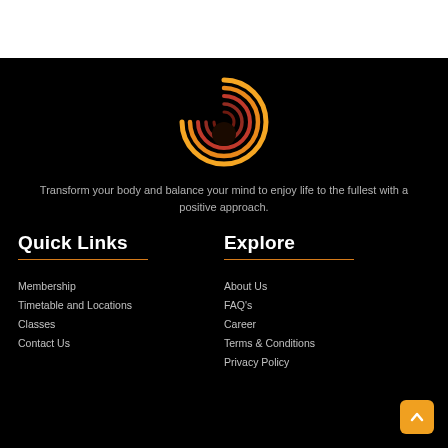[Figure (logo): Circular swirl logo with orange and red arcs on black background]
Transform your body and balance your mind to enjoy life to the fullest with a positive approach.
Quick Links
Explore
Membership
Timetable and Locations
Classes
Contact Us
About Us
FAQ's
Career
Terms & Conditions
Privacy Policy